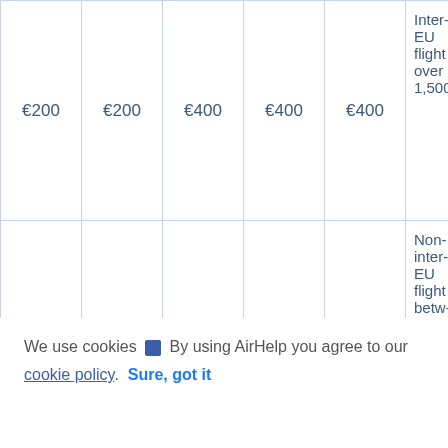| €200 | €200 | €400 | €400 | €400 | Inter-EU flights over 1,500 |
| €200 | €200 | €400 | €400 | €400 | Non-inter-EU flights between 1,500 and |
We use cookies 🔲 By using AirHelp you agree to our cookie policy.  Sure, got it